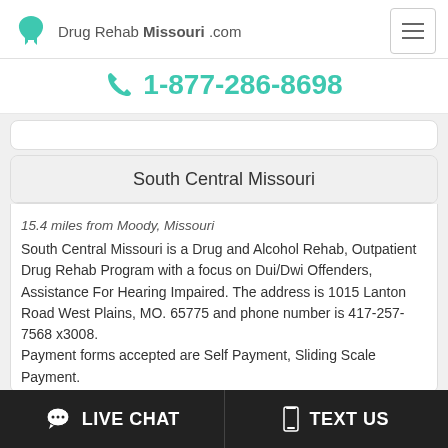Drug Rehab Missouri .com
1-877-286-8698
South Central Missouri
15.4 miles from Moody, Missouri
South Central Missouri is a Drug and Alcohol Rehab, Outpatient Drug Rehab Program with a focus on Dui/Dwi Offenders, Assistance For Hearing Impaired. The address is 1015 Lanton Road West Plains, MO. 65775 and phone number is 417-257-7568 x3008. Payment forms accepted are Self Payment, Sliding Scale Payment.
LIVE CHAT | TEXT US